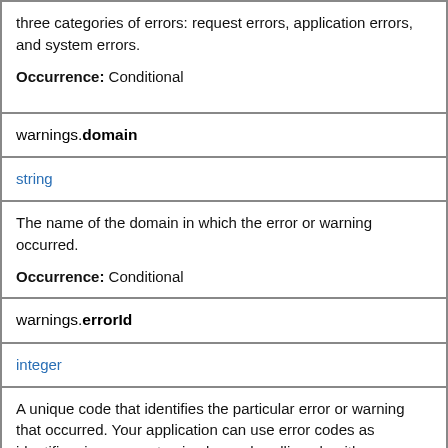three categories of errors: request errors, application errors, and system errors.

Occurrence: Conditional
| warnings.domain |
| string |
| The name of the domain in which the error or warning occurred.

Occurrence: Conditional |
| warnings.errorId |
| integer |
| A unique code that identifies the particular error or warning that occurred. Your application can use error codes as identifiers in your customized error-handling algorithms.

Occurrence: Conditional |
warnings.domain
string
The name of the domain in which the error or warning occurred.

Occurrence: Conditional
warnings.errorId
integer
A unique code that identifies the particular error or warning that occurred. Your application can use error codes as identifiers in your customized error-handling algorithms.

Occurrence: Conditional